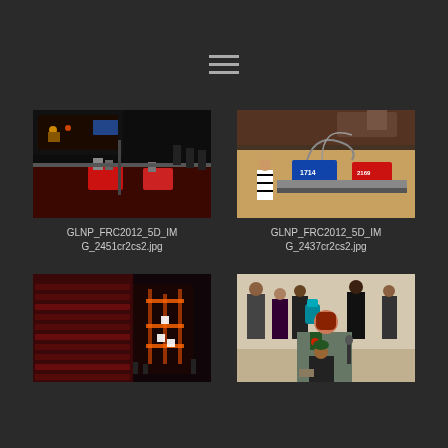[Figure (photo): Hamburger menu icon with three horizontal lines]
[Figure (photo): FRC 2012 robotics competition photo showing robots on competition field with red barriers and audience in background]
GLNP_FRC2012_5D_IMG_2451cr2cs2.jpg
[Figure (photo): FRC 2012 robotics competition photo showing robots numbered 1714 and 2169 on a tan competition floor with a referee in striped shirt nearby]
GLNP_FRC2012_5D_IMG_2437cr2cs2.jpg
[Figure (photo): Indoor arena photo showing red seats and competition field with illuminated structure/tower]
[Figure (photo): Photo of woman in grey blazer with green scarf speaking, with crowd of people behind her]